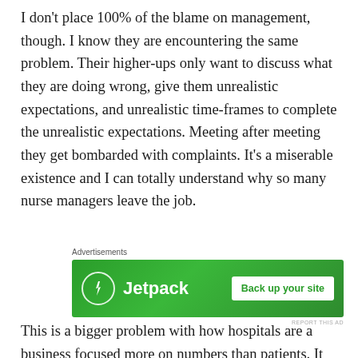I don't place 100% of the blame on management, though. I know they are encountering the same problem. Their higher-ups only want to discuss what they are doing wrong, give them unrealistic expectations, and unrealistic time-frames to complete the unrealistic expectations. Meeting after meeting they get bombarded with complaints. It's a miserable existence and I can totally understand why so many nurse managers leave the job.
[Figure (other): Advertisement banner for Jetpack with lightning bolt icon and 'Back up your site' button on green background]
This is a bigger problem with how hospitals are a business focused more on numbers than patients. It